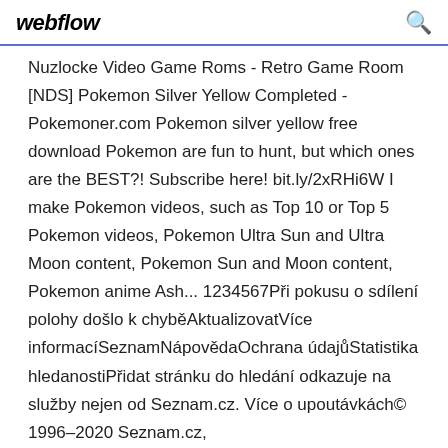webflow
Nuzlocke Video Game Roms - Retro Game Room [NDS] Pokemon Silver Yellow Completed - Pokemoner.com Pokemon silver yellow free download Pokemon are fun to hunt, but which ones are the BEST?! Subscribe here! bit.ly/2xRHi6W I make Pokemon videos, such as Top 10 or Top 5 Pokemon videos, Pokemon Ultra Sun and Ultra Moon content, Pokemon Sun and Moon content, Pokemon anime Ash... 1234567Při pokusu o sdílení polohy došlo k chyběAktualizovatVíce informacíSeznamNápovědaOchrana údajůStatistika hledanostiPřidat stránku do hledání odkazuje na služby nejen od Seznam.cz. Více o upoutávkách© 1996–2020 Seznam.cz,